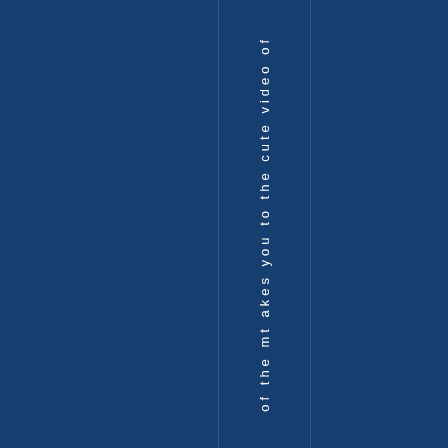[Figure (other): Dark navy blue background page with two vertical dividing lines and vertical white text reading 'of the mt akes you to the cute video of' arranged top to bottom in a single column between the lines]